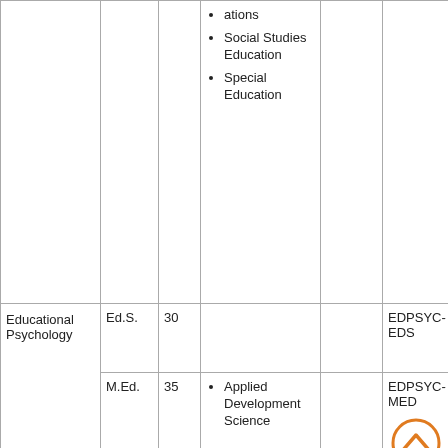| Program | Degree | Credits | Concentrations | Admissions Requirements | Program Code |
| --- | --- | --- | --- | --- | --- |
|  |  |  | ations
Social Studies Education
Special Education |  |  |
| Educational Psychology | Ed.S. | 30 |  |  | EDPSYC-EDS |
| Educational Psychology | M.Ed. | 35 | Applied Development Science |  | EDPSYC-MED |